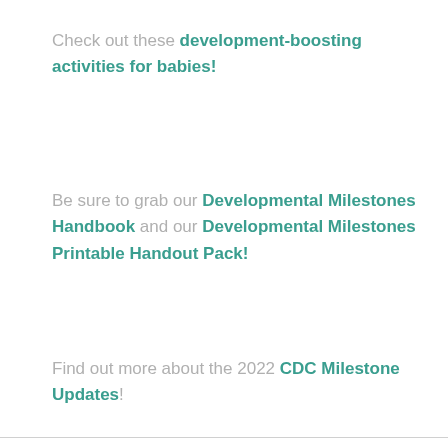Check out these development-boosting activities for babies!
Be sure to grab our Developmental Milestones Handbook and our Developmental Milestones Printable Handout Pack!
Find out more about the 2022 CDC Milestone Updates!